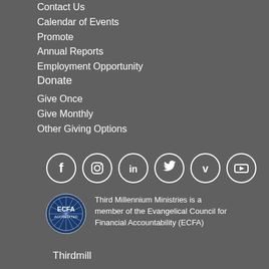Contact Us
Calendar of Events
Promote
Annual Reports
Employment Opportunity
Donate
Give Once
Give Monthly
Other Giving Options
[Figure (infographic): Row of six social media icons in white circles on grey background: Facebook, Instagram, LinkedIn, Twitter, Vimeo, YouTube]
[Figure (logo): ECFA Accredited circular logo badge]
Third Millennium Ministries is a member of the Evangelical Council for Financial Accountability (ECFA)
Thirdmill